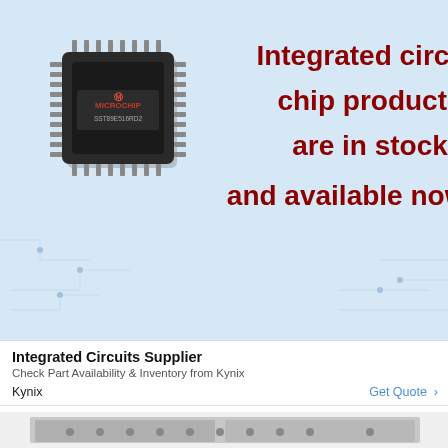[Figure (photo): Advertisement banner with light blue background showing a Microchip-branded integrated circuit chip (SST89E516RD2) on the left, and bold dark red text on the right reading 'Integrated circuit chip products are in stock and available now.' A faint circuit board pattern is visible in the background.]
Integrated Circuits Supplier
Check Part Availability & Inventory from Kynix
Kynix
Get Quote >
[Figure (photo): Photograph of a large stainless steel professional range/cooker with multiple gas burners on top, a griddle, multiple knobs along the front, a digital display, and two oven compartments below — the right oven door is open showing interior racks with glowing elements.]